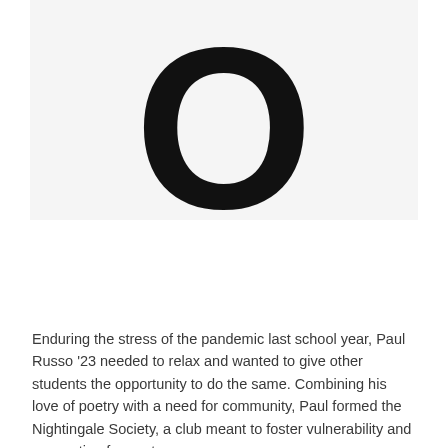[Figure (illustration): Large bold capital letter O in black on a light grey background, filling most of the upper portion of the page]
Enduring the stress of the pandemic last school year, Paul Russo '23 needed to relax and wanted to give other students the opportunity to do the same. Combining his love of poetry with a need for community, Paul formed the Nightingale Society, a club meant to foster vulnerability and connection for poets on campus.